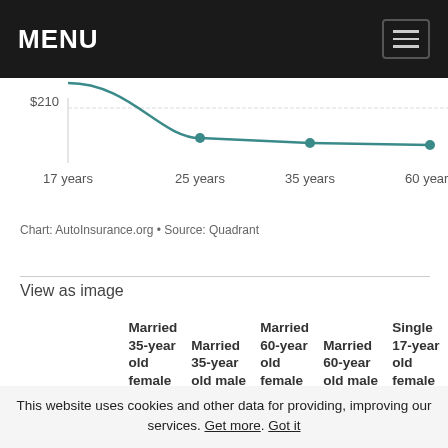MENU
[Figure (line-chart): Partial line chart showing auto insurance rates by age. X-axis labels: 17 years, 25 years, 35 years, 60 years. Y-axis label visible: $210. A teal line with data points at 25, 35, and 60 years.]
Chart: AutoInsurance.org • Source: Quadrant
View as image
| Company | Married 35-year old female Annual Rate | Married 35-year old male Annual Rate | Married 60-year old female Annual Rate | Married 60-year old male Annual Rate | Single 17-year old female Annual Rate |
| --- | --- | --- | --- | --- | --- |
| Allstate |  |  |  |  |  |
This website uses cookies and other data for providing, improving our services. Get more. Got it